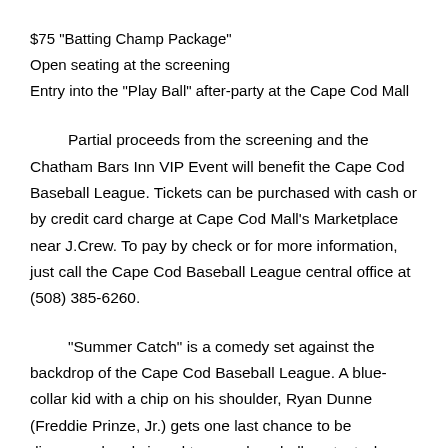$75 "Batting Champ Package"
Open seating at the screening
Entry into the "Play Ball" after-party at the Cape Cod Mall
Partial proceeds from the screening and the Chatham Bars Inn VIP Event will benefit the Cape Cod Baseball League. Tickets can be purchased with cash or by credit card charge at Cape Cod Mall's Marketplace near J.Crew. To pay by check or for more information, just call the Cape Cod Baseball League central office at (508) 385-6260.
"Summer Catch" is a comedy set against the backdrop of the Cape Cod Baseball League. A blue-collar kid with a chip on his shoulder, Ryan Dunne (Freddie Prinze, Jr.) gets one last chance to be discovered and signed to a pro baseball contact when he wins a pitching slot in the Cape League. Ryan must prove himself to his teammates on the field by day, to his old friends on the town at night and juggle a hot summer fling. It's going to be the wildest summer of Ryan Dunne's life-will he rise to